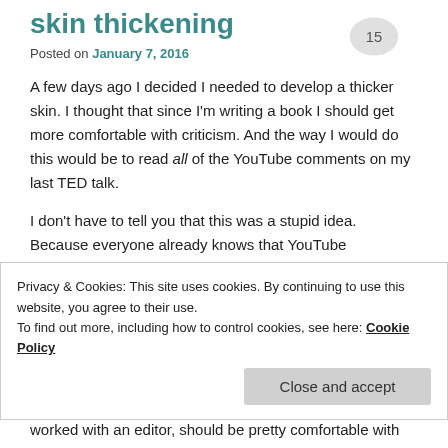skin thickening
Posted on January 7, 2016
A few days ago I decided I needed to develop a thicker skin. I thought that since I'm writing a book I should get more comfortable with criticism. And the way I would do this would be to read all of the YouTube comments on my last TED talk.
I don't have to tell you that this was a stupid idea. Because everyone already knows that YouTube comments are the lowest form of internet discourse. (A favorite, in case you're curious: “Why fall in love if you can fall asleep?”) I’d just listened to Lindy West's amazing
Privacy & Cookies: This site uses cookies. By continuing to use this website, you agree to their use.
To find out more, including how to control cookies, see here: Cookie Policy
worked with an editor, should be pretty comfortable with